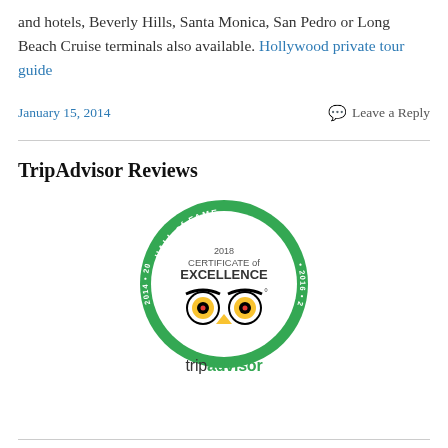and hotels, Beverly Hills, Santa Monica, San Pedro or Long Beach Cruise terminals also available. Hollywood private tour guide
January 15, 2014    Leave a Reply
TripAdvisor Reviews
[Figure (logo): TripAdvisor 2018 Certificate of Excellence Hall of Fame badge (2014–2017) with owl logo]